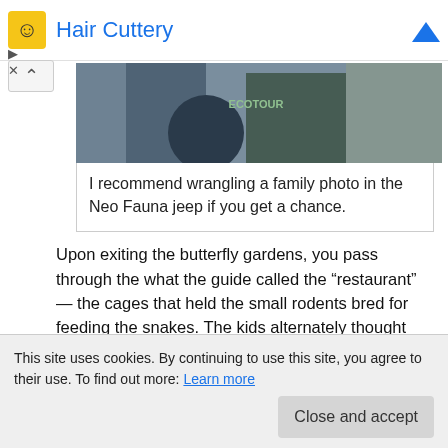Hair Cuttery
[Figure (photo): Photo of people near a Neo Fauna jeep, showing legs/lower body of figures and a dark green vehicle with partial logo visible]
I recommend wrangling a family photo in the Neo Fauna jeep if you get a chance.
Upon exiting the butterfly gardens, you pass through the what the guide called the “restaurant” — the cages that held the small rodents bred for feeding the snakes. The kids alternately thought this was hilarious and bizarre.
Costa Rica is home to numerous wildlife sanctuaries and animal rescues, many of which are seriously devoted to animal rehabilitation — taking in injured animals and preparing them for release back into the wild. Neo Fauna is not in that category.
This site uses cookies. By continuing to use this site, you agree to their use. To find out more: Learn more